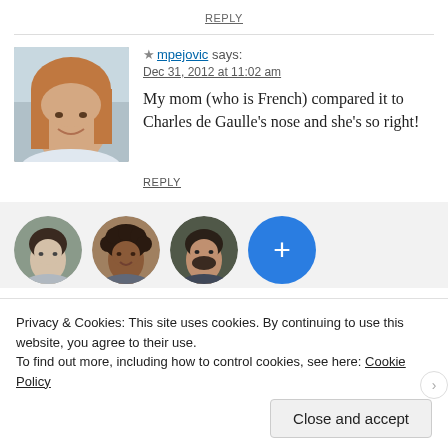REPLY
★ mpejovic says:
Dec 31, 2012 at 11:02 am
My mom (who is French) compared it to Charles de Gaulle's nose and she's so right!
REPLY
[Figure (photo): Gray section with three circular avatar photos and a blue plus button]
Privacy & Cookies: This site uses cookies. By continuing to use this website, you agree to their use.
To find out more, including how to control cookies, see here: Cookie Policy
Close and accept